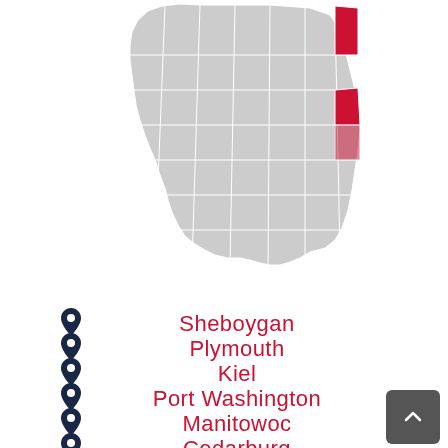[Figure (map): Map of Wisconsin counties with several counties on the eastern side highlighted in red, representing selected service counties. The majority of the state is shown in gray.]
Sheboygan
Plymouth
Kiel
Port Washington
Manitowoc
Cedarburg